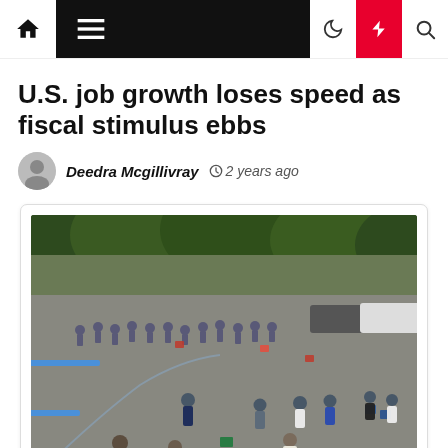Navigation bar with home, menu, dark mode, flash, and search icons
U.S. job growth loses speed as fiscal stimulus ebbs
Deedra Mcgillivray  2 years ago
[Figure (photo): Aerial/wide view of a large crowd of people queuing in a parking lot surrounded by green trees, with folding chairs and cars visible.]